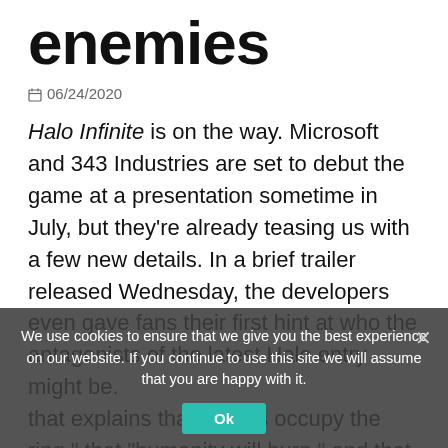enemies
06/24/2020
Halo Infinite is on the way. Microsoft and 343 Industries are set to debut the game at a presentation sometime in July, but they're already teasing us with a few new details. In a brief trailer released Wednesday, the developers even gave fans their first hint at who the antagonists of the latest Halo entry might be.
We use cookies to ensure that we give you the best experience on our website. If you continue to use this site we will assume that you are happy with it.
that explains that "forces occupy the ring," that "humanity will burn," and that there will be "no